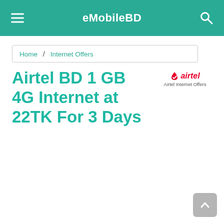eMobileBD
Home / Internet Offers
Airtel BD 1 GB 4G Internet at 22TK For 3 Days
[Figure (logo): Airtel logo with red checkmark and italic text 'airtel', subtitle 'Airtel Internet Offers']